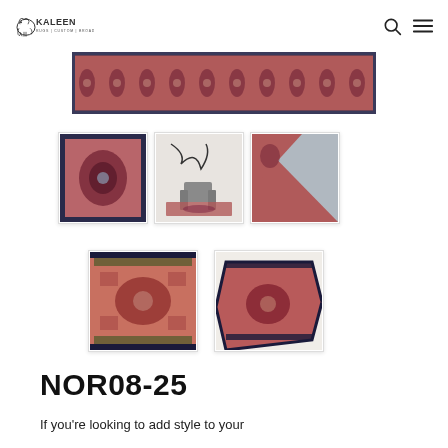Kaleen Rugs | Custom | Broadloom
[Figure (photo): Main product image: a long runner rug with intricate medallion Persian/Oriental pattern in red, pink, and dark navy tones shown rolled/unrolled]
[Figure (photo): Thumbnail 1: Close-up frontal view of the rug showing central medallion in red and dark tones]
[Figure (photo): Thumbnail 2: Lifestyle room shot with rug under a chair and abstract wall art]
[Figure (photo): Thumbnail 3: Corner of rug folded back showing gray backing material]
[Figure (photo): Thumbnail 4: Top-down view of the rug pattern in reds, greens, on white background]
[Figure (photo): Thumbnail 5: Angled perspective view of the rug corner showing pattern and border]
NOR08-25
If you're looking to add style to your